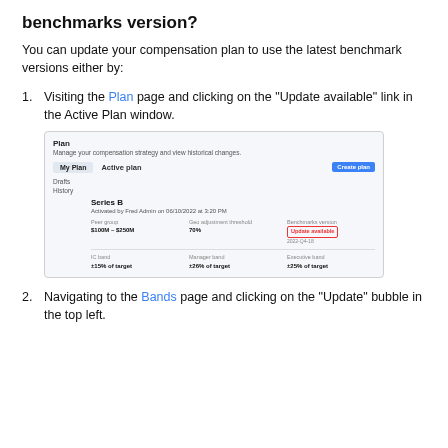benchmarks version?
You can update your compensation plan to use the latest benchmark versions either by:
Visiting the Plan page and clicking on the "Update available" link in the Active Plan window.
[Figure (screenshot): Screenshot of the Plan page showing Active Plan for Series B, with peer group $100M-$250M, Geo adjustment threshold 70%, Benchmarks version with 'Update available' link highlighted in red, and band fields for IC band, Manager band, and Executive band.]
Navigating to the Bands page and clicking on the "Update" bubble in the top left.